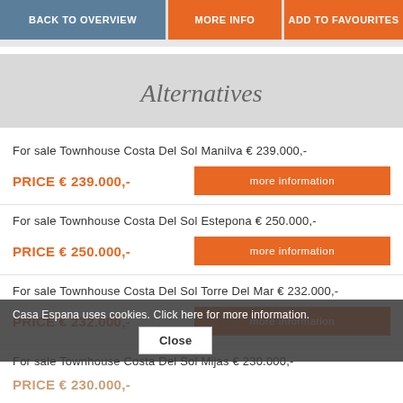BACK TO OVERVIEW | MORE INFO | ADD TO FAVOURITES
Alternatives
For sale Townhouse Costa Del Sol Manilva € 239.000,-
PRICE € 239.000,-  more information
For sale Townhouse Costa Del Sol Estepona € 250.000,-
PRICE € 250.000,-  more information
For sale Townhouse Costa Del Sol Torre Del Mar € 232.000,-
PRICE € 232.000,-  more information
For sale Townhouse Costa Del Sol Mijas € 230.000,-
PRICE € 230.000,-  more information
Casa Espana uses cookies. Click here for more information.